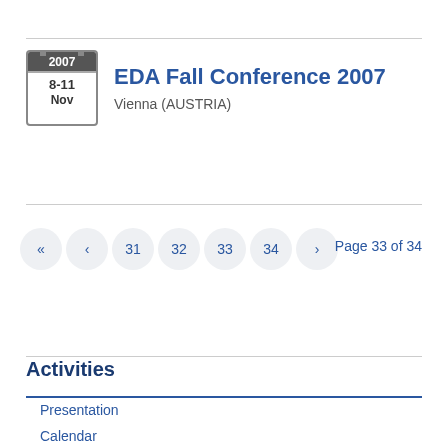EDA Fall Conference 2007
Vienna (AUSTRIA)
Page 33 of 34
Activities
Presentation
Calendar